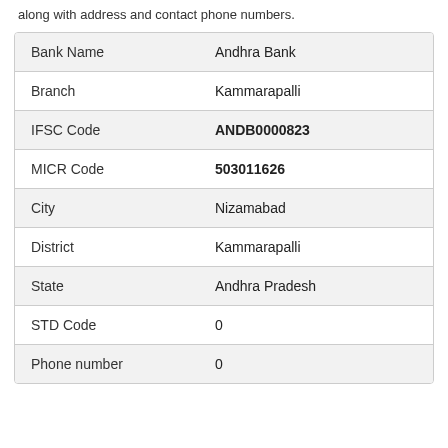along with address and contact phone numbers.
| Field | Value |
| --- | --- |
| Bank Name | Andhra Bank |
| Branch | Kammarapalli |
| IFSC Code | ANDB0000823 |
| MICR Code | 503011626 |
| City | Nizamabad |
| District | Kammarapalli |
| State | Andhra Pradesh |
| STD Code | 0 |
| Phone number | 0 |